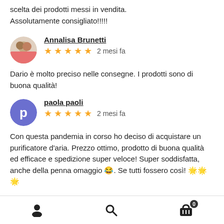scelta dei prodotti messi in vendita. Assolutamente consigliato!!!!!
Annalisa Brunetti
★★★★★ 2 mesi fa
Dario è molto preciso nelle consegne. I prodotti sono di buona qualità!
paola paoli
★★★★★ 2 mesi fa
Con questa pandemia in corso ho deciso di acquistare un purificatore d'aria. Prezzo ottimo, prodotto di buona qualità ed efficace e spedizione super veloce! Super soddisfatta, anche della penna omaggio 😂. Se tutti fossero così! 🌟🌟🌟
User profile | Search | Cart (0)